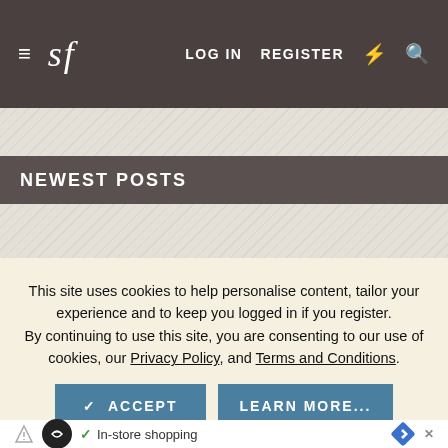≡  sf   LOG IN   REGISTER  ⚡  🔍
[Figure (screenshot): Diagonal hatched grey banner/ad placeholder area]
This site uses cookies to help personalise content, tailor your experience and to keep you logged in if you register. By continuing to use this site, you are consenting to our use of cookies, our Privacy Policy, and Terms and Conditions.
✓ ACCEPT   LEARN MORE...
NEWEST POSTS
Random Fashion Thoughts (Part 3: Style farmer strikes ...
Latest: The_Shooter · 1 minute ago
» Jacque...
Latest Cri...
✓ In-store shopping